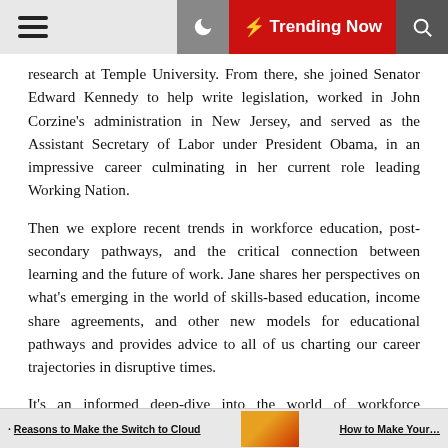≡   🌙   ⚡ Trending Now   🔍
research at Temple University. From there, she joined Senator Edward Kennedy to help write legislation, worked in John Corzine's administration in New Jersey, and served as the Assistant Secretary of Labor under President Obama, in an impressive career culminating in her current role leading Working Nation.
Then we explore recent trends in workforce education, post-secondary pathways, and the critical connection between learning and the future of work. Jane shares her perspectives on what's emerging in the world of skills-based education, income share agreements, and other new models for educational pathways and provides advice to all of us charting our career trajectories in disruptive times.
It's an informed deep-dive into the world of workforce development and training with a genuine thought leader in the field. Don't miss it!
· Reasons to Make the Switch to Cloud   How to Make Your…